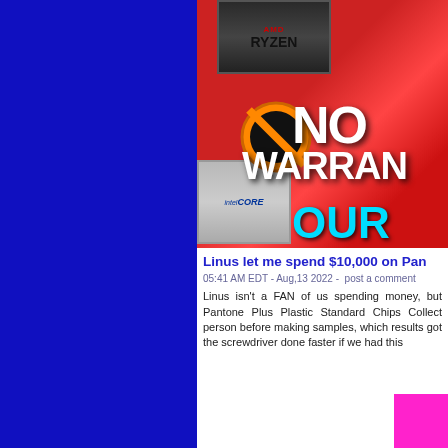[Figure (screenshot): Left blue sidebar panel of a website]
[Figure (photo): YouTube thumbnail showing AMD Ryzen and Intel Core chips, a no-entry sign, text reading NO WARRAN OUR, and a person with microphone on red background]
Linus let me spend $10,000 on Pan
05:41 AM EDT - Aug,13 2022 -  post a comment
Linus isn't a FAN of us spending money, but Pantone Plus Plastic Standard Chips Collect person before making samples, which results got the screwdriver done faster if we had this
[Figure (screenshot): Bottom pink/magenta strip with green arrow icon]